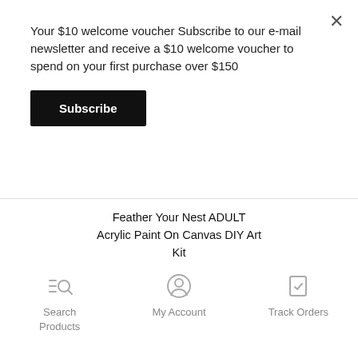Your $10 welcome voucher Subscribe to our e-mail newsletter and receive a $10 welcome voucher to spend on your first purchase over $150
Subscribe
Feather Your Nest ADULT Acrylic Paint On Canvas DIY Art Kit
$45.00
Buy Now
Search Products
My Account
Track Orders